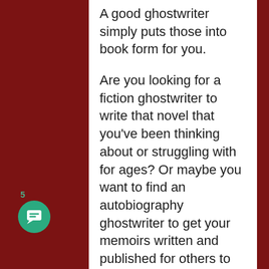A good ghostwriter simply puts those into book form for you.
Are you looking for a fiction ghostwriter to write that novel that you've been thinking about or struggling with for ages? Or maybe you want to find an autobiography ghostwriter to get your memoirs written and published for others to read and enjoy.  Maybe  you want a more specialized novel ghost writer or a technical